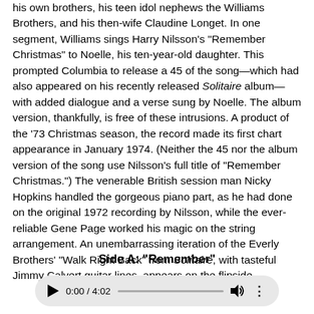his own brothers, his teen idol nephews the Williams Brothers, and his then-wife Claudine Longet. In one segment, Williams sings Harry Nilsson's "Remember Christmas" to Noelle, his ten-year-old daughter. This prompted Columbia to release a 45 of the song—which had also appeared on his recently released Solitaire album—with added dialogue and a verse sung by Noelle. The album version, thankfully, is free of these intrusions. A product of the '73 Christmas season, the record made its first chart appearance in January 1974. (Neither the 45 nor the album version of the song use Nilsson's full title of "Remember Christmas.") The venerable British session man Nicky Hopkins handled the gorgeous piano part, as he had done on the original 1972 recording by Nilsson, while the ever-reliable Gene Page worked his magic on the string arrangement. An unembarrassing iteration of the Everly Brothers' "Walk Right Back" from Solitaire, with tasteful Jimmy Calvert guitar lines, appears on the flipside.
Side A: "Remember"
[Figure (other): Audio player bar showing play button, time 0:00 / 4:02, progress bar, volume icon, and options dots]